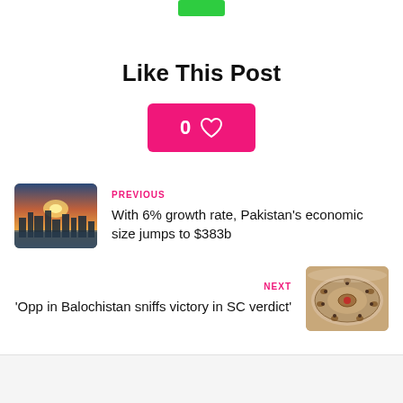[Figure (other): Green button partially visible at top of page]
Like This Post
[Figure (other): Pink/hot-pink like button with count 0 and heart icon]
PREVIOUS
[Figure (photo): Aerial city skyline photo at sunset]
With 6% growth rate, Pakistan's economic size jumps to $383b
NEXT
'Opp in Balochistan sniffs victory in SC verdict'
[Figure (photo): Overhead view of a circular parliament or assembly hall]